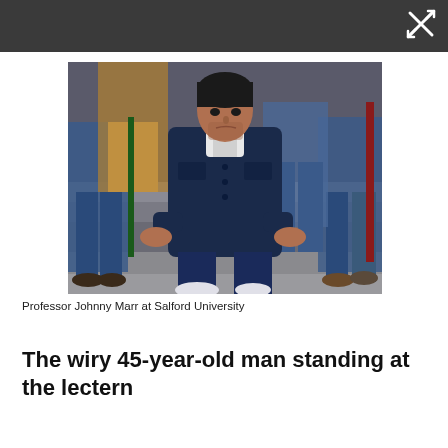[Figure (photo): A man in a dark jacket sitting on stone steps, with blurred figures of people standing behind him. Photo taken at Salford University.]
Professor Johnny Marr at Salford University
The wiry 45-year-old man standing at the lectern